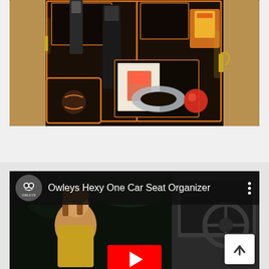[Figure (photo): Car seat back organizer (Owleys Hexy One) installed in a vehicle interior showing multiple pockets with black and orange trim, holding a water bottle, travel pillow, toys, books, and a kick mat on the floor.]
[Figure (screenshot): YouTube video thumbnail showing 'Owleys Hexy One Car Seat Organizer' with the Owleys logo circle, video title text, a three-dot menu icon, a child passenger visible in background, and a YouTube play button partially visible at the bottom. A scroll-up arrow button overlays the bottom-right corner.]